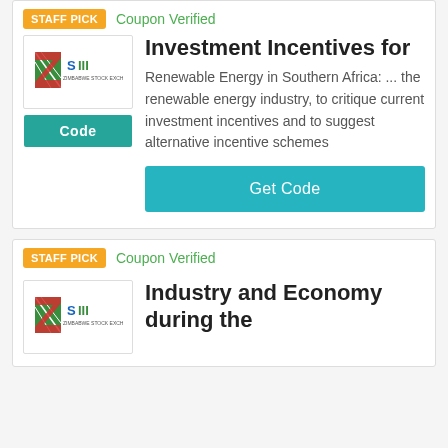STAFF PICK
Coupon Verified
[Figure (logo): ZSIII company logo with green and red striped design]
Code
Investment Incentives for
Renewable Energy in Southern Africa: ... the renewable energy industry, to critique current investment incentives and to suggest alternative incentive schemes
Get Code
STAFF PICK
Coupon Verified
[Figure (logo): ZSIII company logo with green and red striped design]
Industry and Economy during the